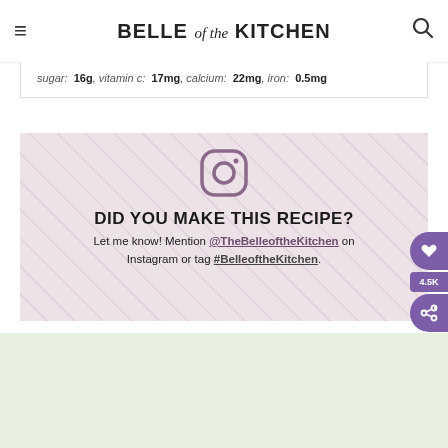BELLE of the KITCHEN
sugar: 16g, vitamin c: 17mg, calcium: 22mg, iron: 0.5mg
[Figure (infographic): Instagram call-to-action banner with Instagram logo icon, heading 'DID YOU MAKE THIS RECIPE?', and text 'Let me know! Mention @TheBelleoftheKitchen on Instagram or tag #BelleoftheKitchen.']
[Figure (photo): Bottom strip showing teal striped straw and green plant leaves, with 'WHAT'S NEXT' overlay showing Strawberry Pineapple... recipe thumbnail]